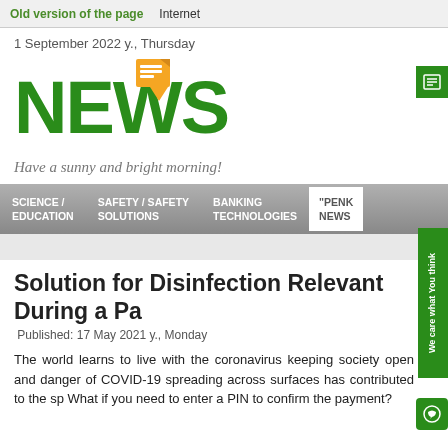Old version of the page   Internet
1 September 2022 y., Thursday
[Figure (logo): NEWS logo in green bold text with an orange news/document icon above the letter W]
Have a sunny and bright morning!
SCIENCE / EDUCATION   SAFETY / SAFETY SOLUTIONS   BANKING TECHNOLOGIES   "PENK... NEWS...
Solution for Disinfection Relevant During a Pa
Published: 17 May 2021 y., Monday
The world learns to live with the coronavirus keeping society open and danger of COVID-19 spreading across surfaces has contributed to the sp What if you need to enter a PIN to confirm the payment?